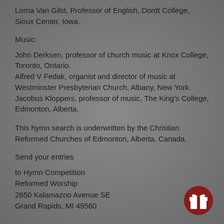Lorna Van Gilst, Professor of English, Dordt College, Sioux Center, Iowa.
Music:
John Derksen, professor of church music at Knox College, Toronto, Ontario.
Alfred V Fedak, organist and director of music at Westminster Presbyterian Church, Albany, New York.
Jacobus Kloppers, professor of music, The King's College, Edmonton, Alberta.
This hymn search is underwritten by the Christian Reformed Churches of Edmonton, Alberta, Canada.
Send your entries
to Hymn Competition
Reformed Worship
2850 Kalamazoo Avenue SE
Grand Rapids, MI 49560
[Figure (illustration): Dark red circular icon with a gift box symbol (present with bow) in white]